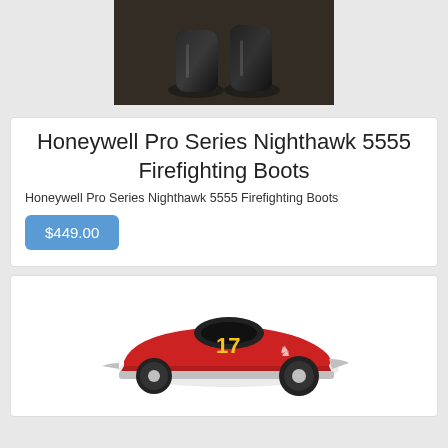[Figure (photo): Black firefighting boots on a brown surface, viewed from above]
Honeywell Pro Series Nighthawk 5555 Firefighting Boots
Honeywell Pro Series Nighthawk 5555 Firefighting Boots
$449.00
[Figure (photo): Red vintage race car model number 17 with chrome details and black wheels]